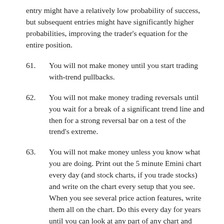entry might have a relatively low probability of success, but subsequent entries might have significantly higher probabilities, improving the trader's equation for the entire position.
61. You will not make money until you start trading with-trend pullbacks.
62. You will not make money trading reversals until you wait for a break of a significant trend line and then for a strong reversal bar on a test of the trend's extreme.
63. You will not make money unless you know what you are doing. Print out the 5 minute Emini chart every day (and stock charts, if you trade stocks) and write on the chart every setup that you see. When you see several price action features, write them all on the chart. Do this every day for years until you can look at any part of any chart and instantly understand what is happening.